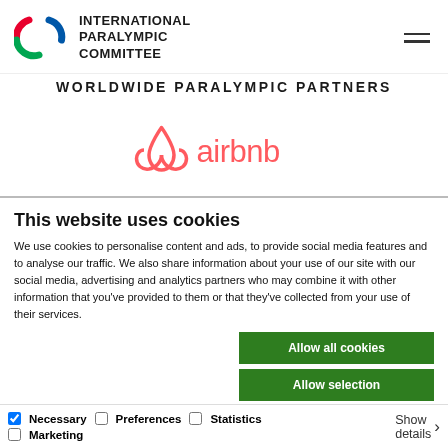INTERNATIONAL PARALYMPIC COMMITTEE
WORLDWIDE PARALYMPIC PARTNERS
[Figure (logo): Airbnb logo — pink Airbnb bélo symbol followed by 'airbnb' in pink text]
This website uses cookies
We use cookies to personalise content and ads, to provide social media features and to analyse our traffic. We also share information about your use of our site with our social media, advertising and analytics partners who may combine it with other information that you've provided to them or that they've collected from your use of their services.
Allow all cookies
Allow selection
Use necessary cookies only
Necessary  Preferences  Statistics  Marketing  Show details